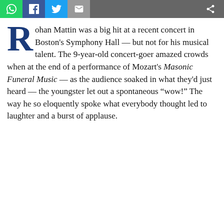[Figure (other): Social sharing toolbar with WhatsApp, Facebook, Twitter, email, and share icons]
Rohan Mattin was a big hit at a recent concert in Boston's Symphony Hall — but not for his musical talent. The 9-year-old concert-goer amazed crowds when at the end of a performance of Mozart's Masonic Funeral Music — as the audience soaked in what they'd just heard — the youngster let out a spontaneous “wow!” The way he so eloquently spoke what everybody thought led to laughter and a burst of applause.